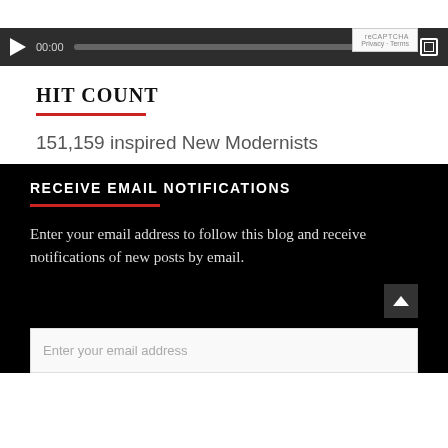[Figure (screenshot): Media player with dark navy/black background, play button, time 00:00, progress bar, end time 00:00, and fullscreen button. reCAPTCHA box visible top right with Privacy and Terms links.]
HIT COUNT
151,159 inspired New Modernists
RECEIVE EMAIL NOTIFICATIONS
Enter your email address to follow this blog and receive notifications of new posts by email.
Enter your email address